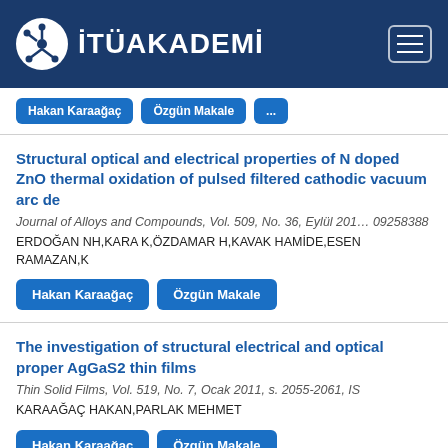İTÜAKADEMİ
Structural optical and electrical properties of N doped ZnO thermal oxidation of pulsed filtered cathodic vacuum arc de
Journal of Alloys and Compounds, Vol. 509, No. 36, Eylül 2011, 09258388
ERDOĞAN NH,KARA K,ÖZDAMAR H,KAVAK HAMİDE,ESEN RAMAZAN,K
Hakan Karaağaç
Özgün Makale
The investigation of structural electrical and optical proper AgGaS2 thin films
Thin Solid Films, Vol. 519, No. 7, Ocak 2011, s. 2055-2061, IS
KARAAĞAÇ HAKAN,PARLAK MEHMET
Hakan Karaağaç
Özgün Makale